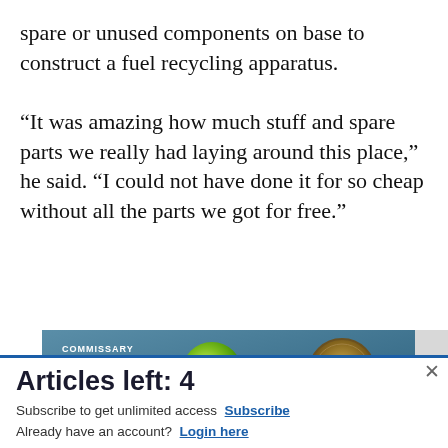spare or unused components on base to construct a fuel recycling apparatus.

&#8220;It was amazing how much stuff and spare parts we really had laying around this place,&#8221; he said. &#8220;I could not have done it for so cheap without all the parts we got for free.&#8221;
[Figure (illustration): Commissary Click2Go advertisement banner with green logo, commissary badge, and text 'order groceries | PICKUP']
Articles left: 4
Subscribe to get unlimited access Subscribe
Already have an account? Login here